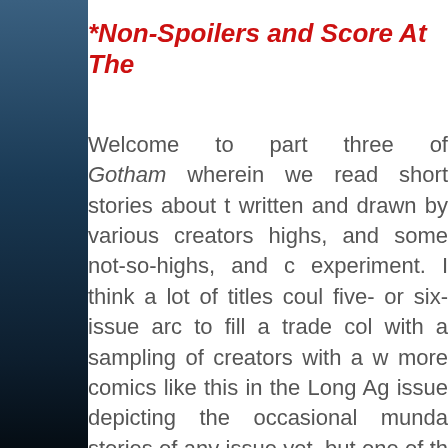*Non-Spoilers and Score At The
Welcome to part three of Gotham wherein we read short stories about t written and drawn by various creators highs, and some not-so-highs, and c experiment. I think a lot of titles coul five- or six-issue arc to fill a trade col with a sampling of creators with a w more comics like this in the Long Ag issue depicting the occasional munda stories of any issue yet, but one of th nod your head knowingly now. And t nod in our knowingness.